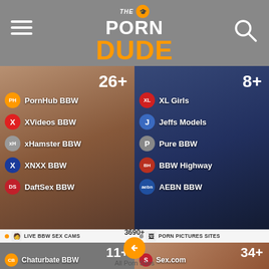THE PORN DUDE — navigation header with hamburger menu and search icon
[Figure (screenshot): Left card showing BBW porn sites list with count 26+: PornHub BBW, XVideos BBW, xHamster BBW, XNXX BBW, DaftSex BBW]
[Figure (screenshot): Right card showing BBW sites list with count 8+: XL Girls, Jeffs Models, Pure BBW, BBW Highway, AEBN BBW]
LIVE BBW SEX CAMS
PORN PICTURES SITES
[Figure (screenshot): Bottom left card showing live cam sites with count 11+: Chaturbate BBW]
[Figure (screenshot): Bottom right card showing porn picture sites with count 34+: Sex.com]
3690+
All Porn Sites